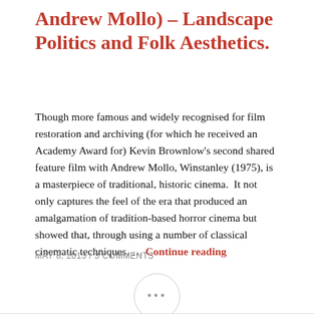Andrew Mollo) – Landscape Politics and Folk Aesthetics.
Though more famous and widely recognised for film restoration and archiving (for which he received an Academy Award for) Kevin Brownlow's second shared feature film with Andrew Mollo, Winstanley (1975), is a masterpiece of traditional, historic cinema.  It not only captures the feel of the era that produced an amalgamation of tradition-based horror cinema but showed that, through using a number of classical cinematic techniques, … Continue reading
MAY 8, 2013 / 3 COMMENTS